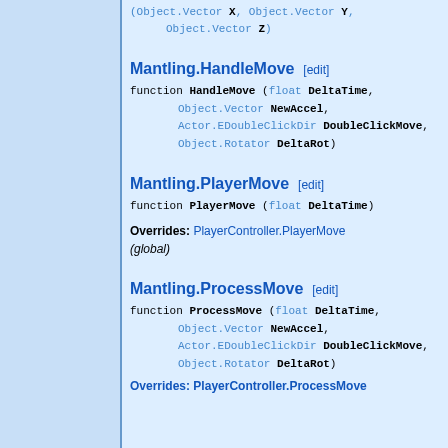(Object.Vector X, Object.Vector Y, Object.Vector Z)
Mantling.HandleMove [edit]
function HandleMove (float DeltaTime, Object.Vector NewAccel, Actor.EDoubleClickDir DoubleClickMove, Object.Rotator DeltaRot)
Mantling.PlayerMove [edit]
function PlayerMove (float DeltaTime)
Overrides: PlayerController.PlayerMove (global)
Mantling.ProcessMove [edit]
function ProcessMove (float DeltaTime, Object.Vector NewAccel, Actor.EDoubleClickDir DoubleClickMove, Object.Rotator DeltaRot)